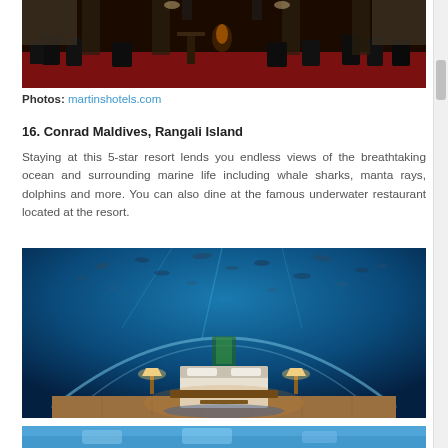[Figure (photo): Interior of an elegant restaurant with red carpet, dark chairs and tables, candles, and tall columns with curtains in the background]
Photos: martinshotels.com
16. Conrad Maldives, Rangali Island
Staying at this 5-star resort lends you endless views of the breathtaking ocean and surrounding marine life including whale sharks, manta rays, dolphins and more. You can also dine at the famous underwater restaurant located at the resort.
[Figure (photo): Underwater bedroom suite with a curved transparent ceiling showing ocean and fish above, a bed in the center, warm lighting from lamps, and blue ocean decor]
[Figure (photo): Partial view of a blue underwater or ocean scene at the bottom of the page]